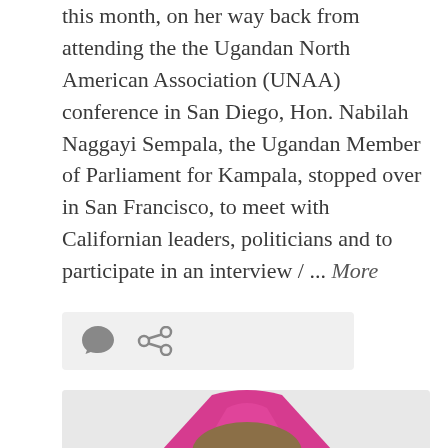this month, on her way back from attending the the Ugandan North American Association (UNAA) conference in San Diego, Hon. Nabilah Naggayi Sempala, the Ugandan Member of Parliament for Kampala, stopped over in San Francisco, to meet with Californian leaders, politicians and to participate in an interview / ... More
[Figure (other): Social sharing icon bar with comment bubble icon and link/share icon on a light gray background]
[Figure (photo): Photo of a person wearing a bright pink/magenta headwrap or hat, partially visible at the bottom of the page]